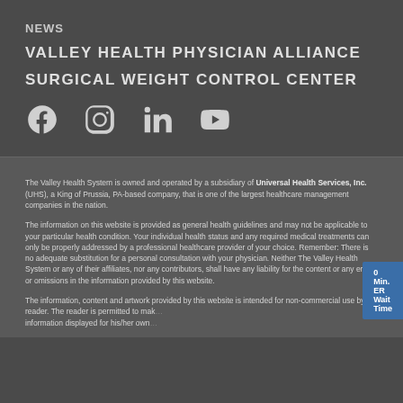NEWS
VALLEY HEALTH PHYSICIAN ALLIANCE
SURGICAL WEIGHT CONTROL CENTER
[Figure (infographic): Social media icons: Facebook, Instagram, LinkedIn, YouTube]
The Valley Health System is owned and operated by a subsidiary of Universal Health Services, Inc. (UHS), a King of Prussia, PA-based company, that is one of the largest healthcare management companies in the nation.
The information on this website is provided as general health guidelines and may not be applicable to your particular health condition. Your individual health status and any required medical treatments can only be properly addressed by a professional healthcare provider of your choice. Remember: There is no adequate substitution for a personal consultation with your physician. Neither The Valley Health System or any of their affiliates, nor any contributors, shall have any liability for the content or any errors or omissions in the information provided by this website.
The information, content and artwork provided by this website is intended for non-commercial use by the reader. The reader is permitted to mak... information displayed for his/her own...
0 Min. ER Wait Time